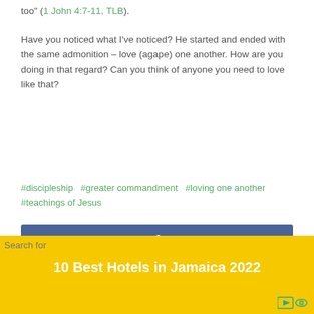too" (1 John 4:7-11, TLB).
Have you noticed what I've noticed? He started and ended with the same admonition – love (agape) one another. How are you doing in that regard? Can you think of anyone you need to love like that?
#discipleship  #greater commandment  #loving one another  #teachings of Jesus
[Figure (other): Facebook share button (dark blue rectangle with white 'f' icon)]
[Figure (other): Twitter share button (light blue rectangle with white bird icon)]
Search for
10 Best Hotels in Jamaica 2022